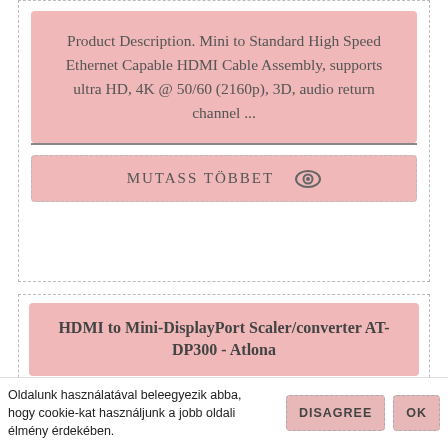Product Description. Mini to Standard High Speed Ethernet Capable HDMI Cable Assembly, supports ultra HD, 4K @ 50/60 (2160p), 3D, audio return channel ...
MUTASS TÖBBET 👁
HDMI to Mini-DisplayPort Scaler/converter AT-DP300 - Atlona
The Atlona AT-DP300 is HDMI to Mini DisplayPort Scaler/converter, designed to convert any HDMI
Oldalunk használatával beleegyezik abba, hogy cookie-kat használjunk a jobb oldali élmény érdekében.